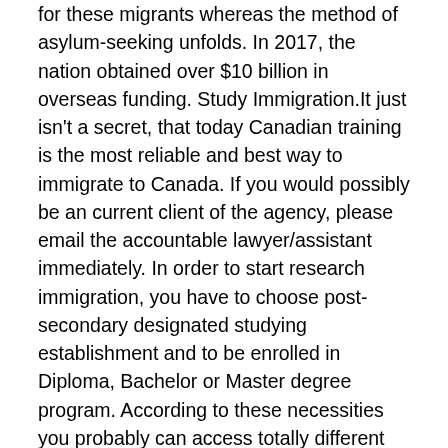for these migrants whereas the method of asylum-seeking unfolds. In 2017, the nation obtained over $10 billion in overseas funding. Study Immigration. It just isn't a secret, that today Canadian training is the most reliable and best way to immigrate to Canada. If you would possibly be an current client of the agency, please email the accountable lawyer/assistant immediately. In order to start research immigration, you have to choose post-secondary designated studying establishment and to be enrolled in Diploma, Bachelor or Master degree program. According to these necessities you probably can access totally different Work Visas relying in your personal circumstances. After graduation you have to get post-graduate work allow, which is dependent upon your school and full educational time period. Please notice nonetheless that we will only respond to detailed inquiries from individuals that we can help. When it involves investment, Iran just isn't a rustic of choice for